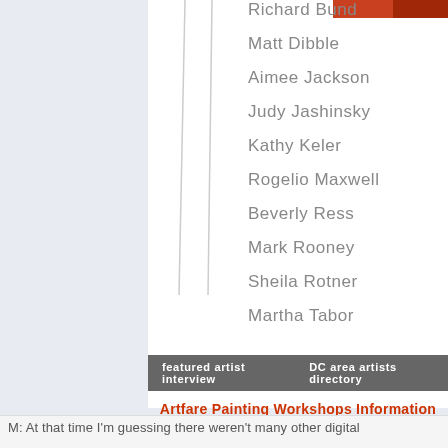[Figure (photo): Partial view of an artwork or photo with orange/red tones in top right corner]
Richard Bund
Matt Dibble
Aimee Jackson
Judy Jashinsky
Kathy Keler
Rogelio Maxwell
Beverly Ress
Mark Rooney
Sheila Rotner
Martha Tabor
featured artist interview    DC area artists directory
Artfare Painting Workshops Information
M: At that time I'm guessing there weren't many other digital